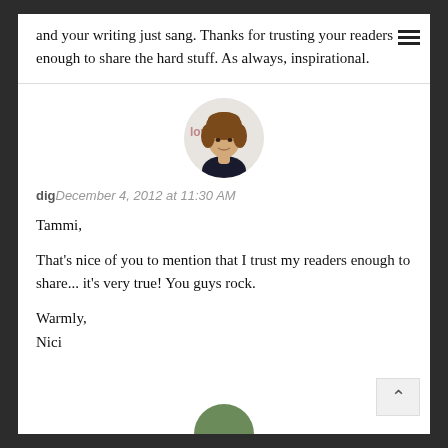and your writing just sang. Thanks for trusting your readers enough to share the hard stuff. As always, inspirational.
[Figure (photo): Circular avatar photo of a woman with curly hair, with text 'love' visible in background]
dig December 4, 2012 at 11:30 AM
Tammi,

That's nice of you to mention that I trust my readers enough to share... it's very true! You guys rock.

Warmly,
Nici